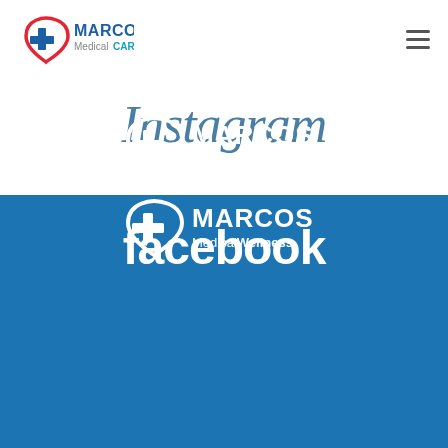[Figure (logo): Marcos MedicalCARE logo with heart and cross, top-left of page]
[Figure (logo): Hamburger menu icon, top-right of page]
Instagram
[Figure (logo): Facebook text logo in white on blue background]
[Figure (logo): Marcos MedicalCARE white logo on blue background]
[Figure (logo): Marcos MedicalWellness white logo on blue background (partially visible)]